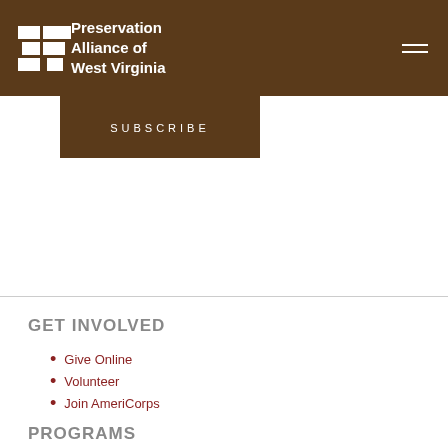Preservation Alliance of West Virginia
SUBSCRIBE
GET INVOLVED
Give Online
Volunteer
Join AmeriCorps
Subscribe
Kroger Community Rewards
Shop with Amazon Smile
Contact Us
PROGRAMS